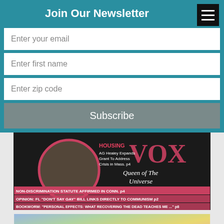Join Our Newsletter
[Figure (screenshot): Menu/hamburger button icon in black square, top right of header]
Enter your email
Enter first name
Enter zip code
Subscribe
[Figure (photo): VOX magazine cover with headline 'Queen of The Universe', housing article 'AG Healey Expands Grant To Address Crisis in Mass. p4', NON-DISCRIMINATION STATUTE AFFIRMED IN CONN. p4, OPINION: FL 'DON'T SAY GAY' BILL LINKS DIRECTLY TO COMMUNISM p2, BOOKWORM: 'PERSONAL EFFECTS: WHAT RECOVERING THE DEAD TEACHES ME...' p8]
[Figure (photo): Colorful abstract background with partial text 'Medical research hasn't']